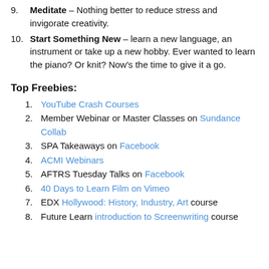9. Meditate – Nothing better to reduce stress and invigorate creativity.
10. Start Something New – learn a new language, an instrument or take up a new hobby. Ever wanted to learn the piano? Or knit? Now's the time to give it a go.
Top Freebies:
1. YouTube Crash Courses
2. Member Webinar or Master Classes on Sundance Collab
3. SPA Takeaways on Facebook
4. ACMI Webinars
5. AFTRS Tuesday Talks on Facebook
6. 40 Days to Learn Film on Vimeo
7. EDX Hollywood: History, Industry, Art course
8. Future Learn introduction to Screenwriting course